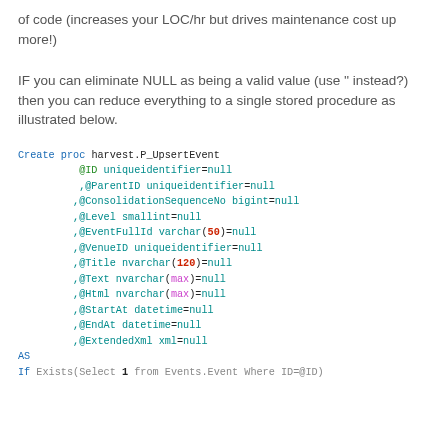of code (increases your LOC/hr but drives maintenance cost up more!)
IF you can eliminate NULL as being a valid value (use '' instead?) then you can reduce everything to a single stored procedure as illustrated below.
[Figure (other): SQL stored procedure code block: Create proc harvest.P_UpsertEvent with parameters @ID, @ParentID, @ConsolidationSequenceNo, @Level, @EventFullId, @VenueID, @Title, @Text, @Html, @StartAt, @EndAt, @ExtendedXml, AS, If Exists(Select 1 from Events.Event Where ID=@ID)]